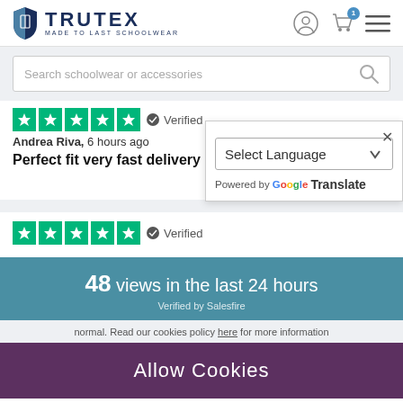[Figure (logo): Trutex logo with shield icon and text 'TRUTEX MADE TO LAST SCHOOLWEAR']
[Figure (screenshot): Navigation icons: user account, shopping basket with blue badge, hamburger menu]
Search schoolwear or accessories
[Figure (infographic): 5 green Trustpilot stars with verified badge]
Andrea Riva, 6 hours ago
Perfect fit very fast delivery
Read more
[Figure (screenshot): Language selector popup with Select Language dropdown, close X button, Powered by Google Translate]
[Figure (infographic): 5 green Trustpilot stars with verified badge (second review)]
48 views in the last 24 hours
Verified by Salesfire
normal. Read our cookies policy here for more information
Allow Cookies